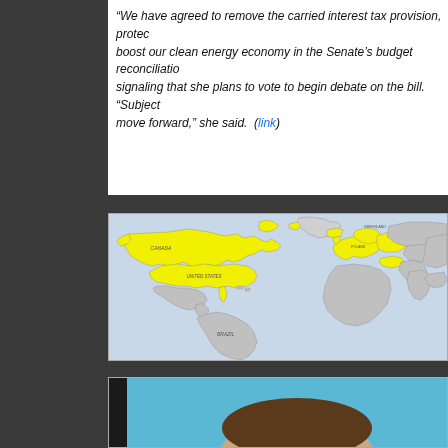“We have agreed to remove the carried interest tax provision, protect boost our clean energy economy in the Senate’s budget reconciliation signaling that she plans to vote to begin debate on the bill. “Subject move forward,” she said. (link)
[Figure (map): World map with Canada, United States, and parts of Europe highlighted in yellow. Countries labeled include Greenland, Canada, United States, Brazil, Bolivia, Chile, Argentina, Poland, and others.]
[Figure (photo): Partial photo of a person against a blue background, showing top of head/hair.]